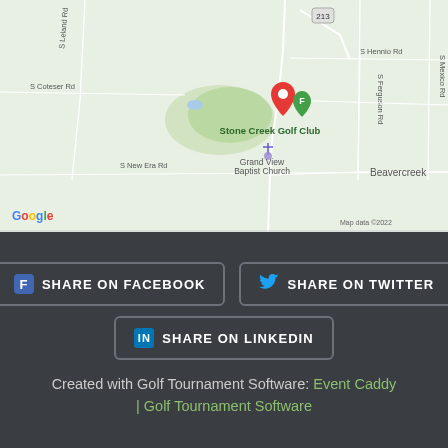[Figure (map): Google Maps view showing Stone Creek Golf Club location near Beavercreek, with road labels: S Leland Rd, S Coteser Rd, S Hennio Rd, S New Era Rd, S Ferguson Rd, S Mexico Rd, highway 213. Also shows Grand View Baptist Church marker. Red location pin at Stone Creek Golf Club. Map data ©2022.]
[Figure (infographic): Dark background social sharing buttons section with three buttons: Share on Facebook (blue Facebook icon), Share on Twitter (blue bird icon), Share on LinkedIn (blue LinkedIn icon). Footer text reads: Created with Golf Tournament Software: Event Caddy | Golf Tournament Software]
Created with Golf Tournament Software: Event Caddy | Golf Tournament Software